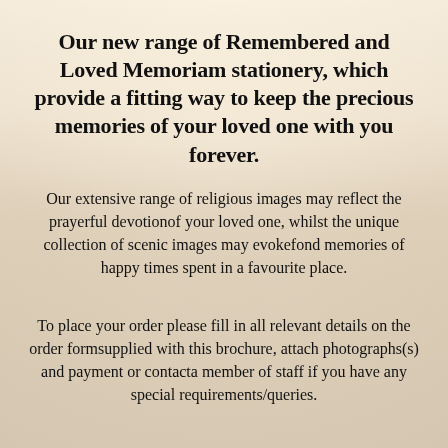Our new range of Remembered and Loved Memoriam stationery, which provide a fitting way to keep the precious memories of your loved one with you forever.
Our extensive range of religious images may reflect the prayerful devotionof your loved one, whilst the unique collection of scenic images may evokefond memories of happy times spent in a favourite place.
To place your order please fill in all relevant details on the order formsupplied with this brochure, attach photographs(s) and payment or contacta member of staff if you have any special requirements/queries.